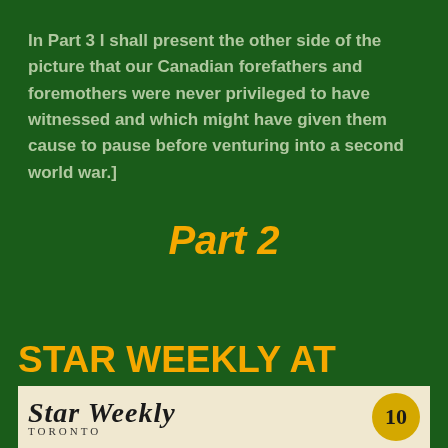In Part 3 I shall present the other side of the picture that our Canadian forefathers and foremothers were never privileged to have witnessed and which might have given them cause to pause before venturing into a second world war.]
Part 2
STAR WEEKLY AT WAR
[Figure (photo): Newspaper masthead for Star Weekly, Toronto, with a circular emblem showing the number 10]